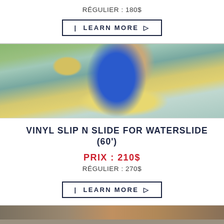RÉGULIER : 180$
| LEARN MORE ▷
[Figure (photo): Child sliding on a yellow cushion on a light blue vinyl waterslide, viewed from behind, outdoors on grass]
VINYL SLIP N SLIDE FOR WATERSLIDE (60')
PRIX : 210$
RÉGULIER : 270$
| LEARN MORE ▷
[Figure (photo): Partial image of another product, partially visible at bottom]
SPECIFICATIONS   FAQ   OUR OTHER PROD